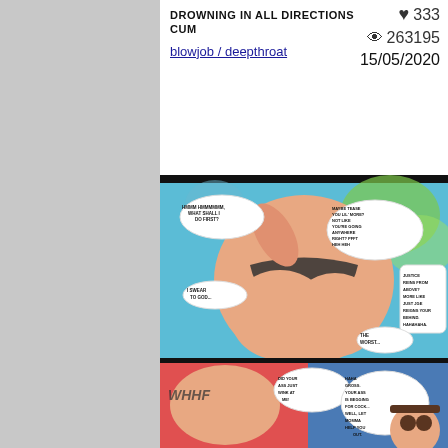DROWNING IN ALL DIRECTIONS CUM
blowjob / deepthroat
♥ 333
👁 263195
15/05/2020
[Figure (illustration): Anime/cartoon comic page showing adult content with speech bubbles containing text: 'HMMM HMMMMM, WHAT SHALL I DO FIRST?', 'MAYBE TEASE YOU LIL MORE? NOT LIKE YOU'RE GOING ANYWHERE RIGHT? PFFT HEH HEH', 'JUSTICE REINS FROM ABOVE? MORE LIKE JUST JGE REIGNS YOUR BEHIND. HAHAHAHA.', 'I SWEAR TO GOD...', 'THE WORST...', 'DID YOUR ASS JUST WINK AT ME!', 'HAHA GROSS. YOUR ASS IS BEGGING FOR COCK... WELL, LET MOMMA HELP YOU OUT.']